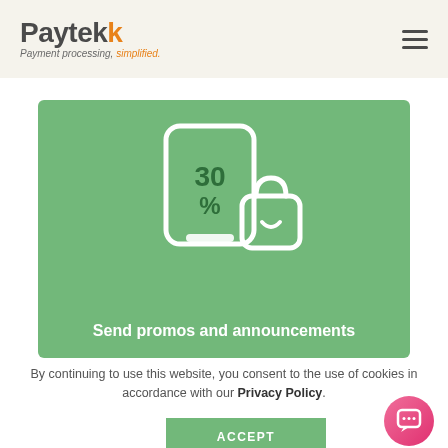Paytek — Payment processing, simplified.
[Figure (illustration): Green banner with a white icon of a phone/tablet showing '30%' and a shopping bag icon, with the heading 'Send promos and announcements']
By continuing to use this website, you consent to the use of cookies in accordance with our Privacy Policy.
ACCEPT